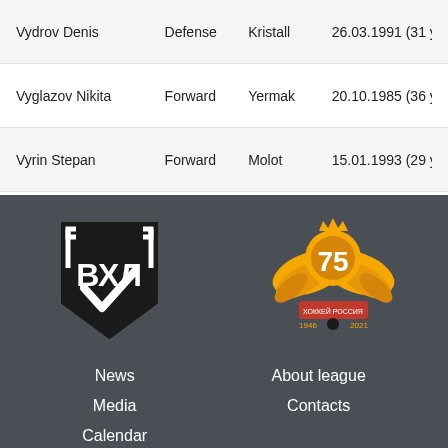| Name | Position | Team | Date of Birth |
| --- | --- | --- | --- |
| Vydrov Denis | Defense | Kristall | 26.03.1991 (31 yea… |
| Vyglazov Nikita | Forward | Yermak | 20.10.1985 (36 yea… |
| Vyrin Stepan | Forward | Molot | 15.01.1993 (29 yea… |
[Figure (logo): VHL (ВХЛ) league logo — black shield shape with white 'ВХД' lettering]
[Figure (logo): 75th anniversary logo of Russian hockey — golden eagle wings with '75' text and years 1946-2021]
News
Media
Calendar
About league
Contacts